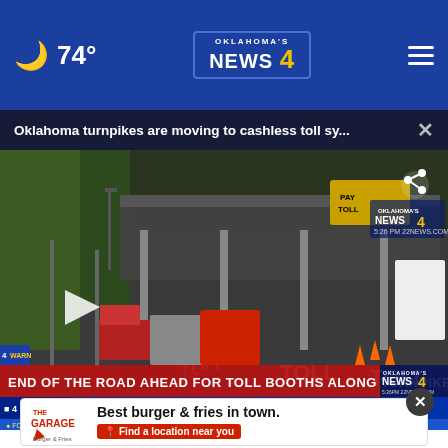74° — Oklahoma's News 4
Oklahoma turnpikes are moving to cashless toll sy...
[Figure (screenshot): Aerial drone video screenshot of toll booth plaza on an Oklahoma turnpike with trucks and construction equipment. Lower third banner reads: END OF THE ROAD AHEAD FOR TOLL BOOTHS ALONG TURNPIKES. News ticker shows: DRUMMOND PUBLIC SCHOOLS: VIRTUAL/REMOTE LEARNING TUESDAY]
[Figure (advertisement): The Garage Burger & Fries advertisement. Text: Best burger & fries in town. Find a location near you.]